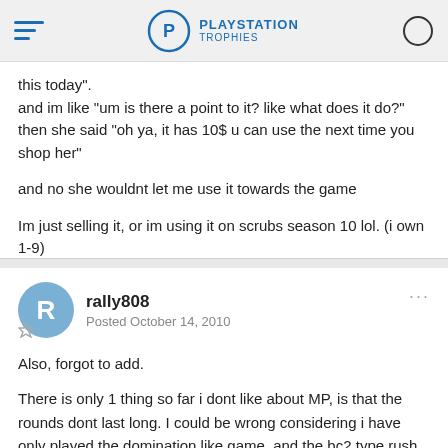PlayStation Trophies
this today".
and im like "um is there a point to it? like what does it do?"
then she said "oh ya, it has 10$ u can use the next time you shop her"

and no she wouldnt let me use it towards the game

Im just selling it, or im using it on scrubs season 10 lol. (i own 1-9)
rally808
Posted October 14, 2010
Also, forgot to add.

There is only 1 thing so far i dont like about MP, is that the rounds dont last long. I could be wrong considering i have only played the domination like game, and the bc2 type rush game mode